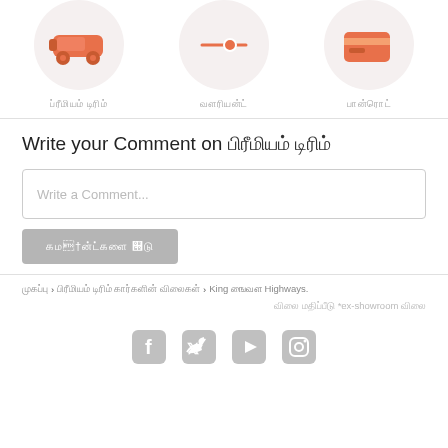[Figure (illustration): Three circular icon images — orange car icon, speedometer/slider icon, and orange credit card icon — each with a decorative background circle]
ப்ரீமியம் டிரிம்    வேரியன்ட்    ஆன்ரோட்
Write your Comment on பிரீமியம் டிரிம்
Write a Comment...
கமெண்ட்களை இடு
முகப்பு › பிரீமியம் டிரிம் கார்களின் விலைகள் › King ஹைவே Highways.
விலை மதிப்பீடு *ex-showroom விலை
[Figure (illustration): Social media icons: Facebook, Twitter, YouTube, Instagram]